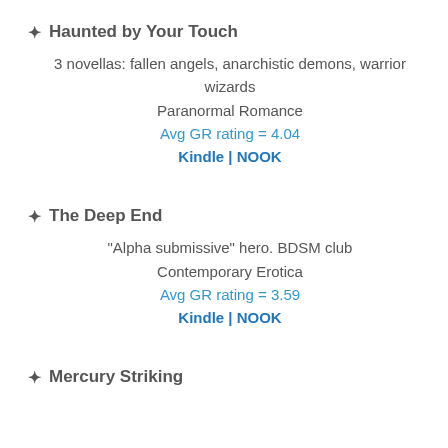✦ Haunted by Your Touch
3 novellas: fallen angels, anarchistic demons, warrior wizards
Paranormal Romance
Avg GR rating = 4.04
Kindle | NOOK
✦ The Deep End
“Alpha submissive” hero. BDSM club
Contemporary Erotica
Avg GR rating = 3.59
Kindle | NOOK
✦ Mercury Striking